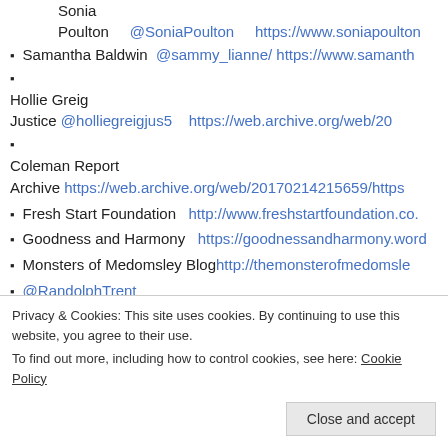Sonia Poulton @SoniaPoulton https://www.soniapoulton
Samantha Baldwin @sammy_lianne/ https://www.samanth
Hollie Greig Justice @holliegreigjus5 https://web.archive.org/web/20
Coleman Report Archive https://web.archive.org/web/20170214215659/https
Fresh Start Foundation http://www.freshstartfoundation.co.
Goodness and Harmony https://goodnessandharmony.word
Monsters of Medomsley Blog http://themonsterofmedomsle
@RandolphTrent
Desiring Progress https://ianpace.wordpress.com/
Rebecca TV https://paddyfrench1.wordpress.com/
Macur Review http://macurstatement.blogspot.com/
Privacy & Cookies: This site uses cookies. By continuing to use this website, you agree to their use.
To find out more, including how to control cookies, see here: Cookie Policy
Close and accept